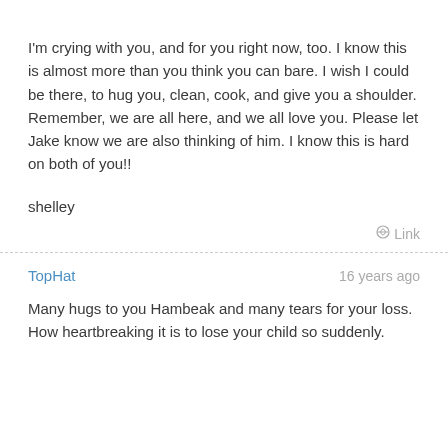I'm crying with you, and for you right now, too. I know this is almost more than you think you can bare. I wish I could be there, to hug you, clean, cook, and give you a shoulder. Remember, we are all here, and we all love you. Please let Jake know we are also thinking of him. I know this is hard on both of you!!
shelley
Link
TopHat
16 years ago
Many hugs to you Hambeak and many tears for your loss. How heartbreaking it is to lose your child so suddenly.